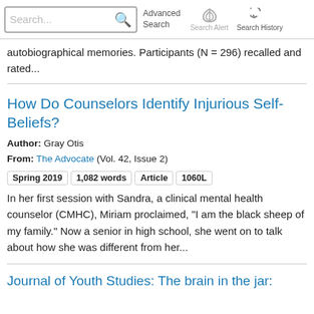Search... [search icon] Advanced Search | Search Alert | Search History
autobiographical memories. Participants (N = 296) recalled and rated...
How Do Counselors Identify Injurious Self-Beliefs?
Author: Gray Otis
From: The Advocate (Vol. 42, Issue 2)
Spring 2019   1,082 words   Article   1060L
In her first session with Sandra, a clinical mental health counselor (CMHC), Miriam proclaimed, "I am the black sheep of my family." Now a senior in high school, she went on to talk about how she was different from her...
Journal of Youth Studies: The brain in the jar: